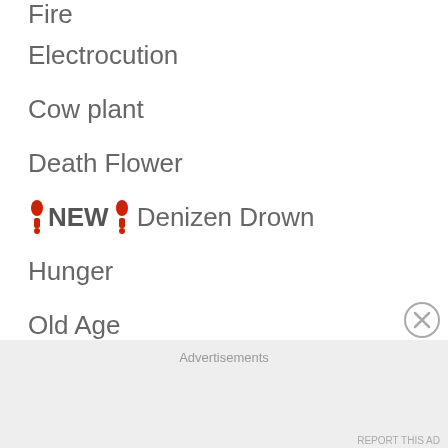Fire
Electrocution
Cow plant
Death Flower
❗ NEW ❗ Denizen Drown
Hunger
Old Age
Anger
Laughter
Lightning
Elder Exhaustion
Drown
Frozen
Over Heat
Poison
Advertisements